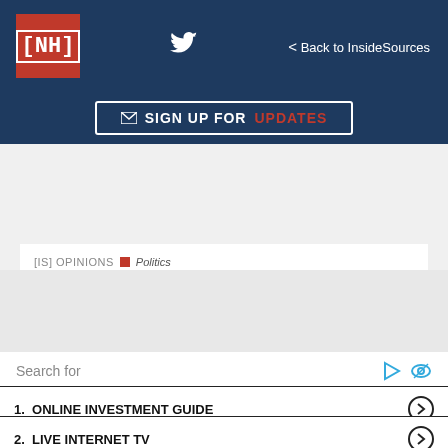[NH] | Twitter | < Back to InsideSources
SIGN UP FOR UPDATES
[IS] OPINIONS | Politics
U.S. Energy Security and Climate Action Rest on Mining READ MORE
Search for
1. ONLINE INVESTMENT GUIDE
2. LIVE INTERNET TV
3. FREE BUSINESS PLANS
4. FREE BUSINESS LISTING